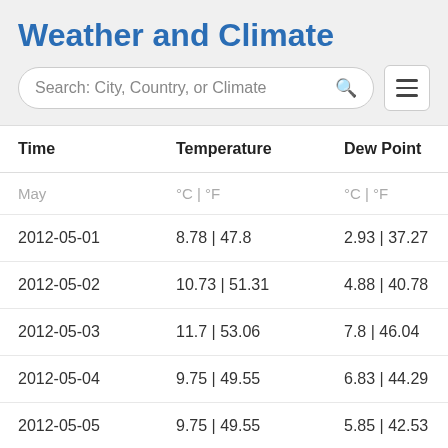Weather and Climate
| Time | Temperature | Dew Point | Hu |
| --- | --- | --- | --- |
| May | °C | °F | °C | °F |  |
| 2012-05-01 | 8.78 | 47.8 | 2.93 | 37.27 |  |
| 2012-05-02 | 10.73 | 51.31 | 4.88 | 40.78 |  |
| 2012-05-03 | 11.7 | 53.06 | 7.8 | 46.04 |  |
| 2012-05-04 | 9.75 | 49.55 | 6.83 | 44.29 |  |
| 2012-05-05 | 9.75 | 49.55 | 5.85 | 42.53 |  |